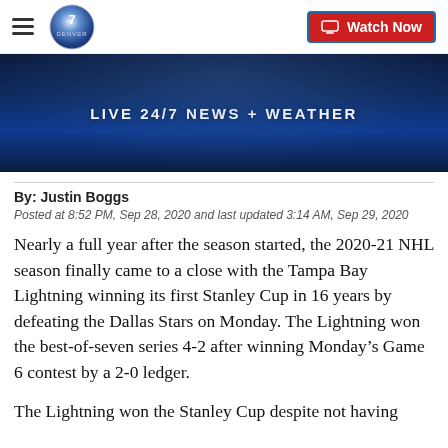Denver7 — Watch Now
[Figure (screenshot): Dark blue banner image with text LIVE 24/7 NEWS + WEATHER]
By: Justin Boggs
Posted at 8:52 PM, Sep 28, 2020 and last updated 3:14 AM, Sep 29, 2020
Nearly a full year after the season started, the 2020-21 NHL season finally came to a close with the Tampa Bay Lightning winning its first Stanley Cup in 16 years by defeating the Dallas Stars on Monday. The Lightning won the best-of-seven series 4-2 after winning Monday’s Game 6 contest by a 2-0 ledger.
The Lightning won the Stanley Cup despite not having